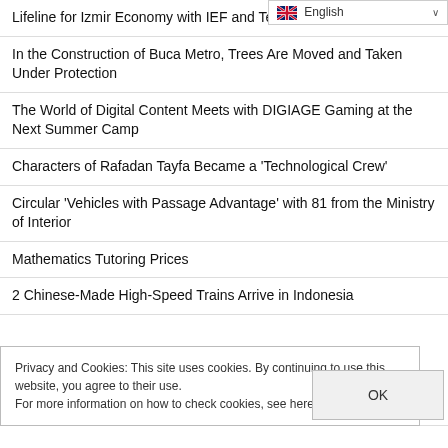Lifeline for Izmir Economy with IEF and Terra Madre
In the Construction of Buca Metro, Trees Are Moved and Taken Under Protection
The World of Digital Content Meets with DIGIAGE Gaming at the Next Summer Camp
Characters of Rafadan Tayfa Became a 'Technological Crew'
Circular 'Vehicles with Passage Advantage' with 81 from the Ministry of Interior
Mathematics Tutoring Prices
2 Chinese-Made High-Speed Trains Arrive in Indonesia
Privacy and Cookies: This site uses cookies. By continuing to use this website, you agree to their use.
For more information on how to check cookies, see here: Cookie Policy
OK